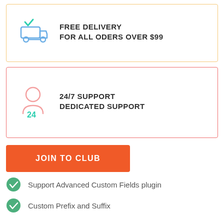[Figure (illustration): Free delivery icon: delivery truck with checkmark, blue/teal outline]
FREE DELIVERY
FOR ALL ODERS OVER $99
[Figure (illustration): 24/7 support icon: person silhouette with '24' in teal, pink outline]
24/7 SUPPORT
DEDICATED SUPPORT
JOIN TO CLUB
Support Advanced Custom Fields plugin
Custom Prefix and Suffix